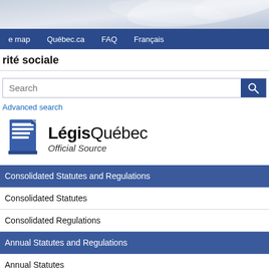[Figure (screenshot): Quebec government website header banner with decorative wave/ribbon graphic in grey-blue tones]
e map   Québec.ca   FAQ   Français
rité sociale
Search
Advanced search
[Figure (logo): LégisQuébec Official Source logo with a stylized document icon and bold text]
Consolidated Statutes and Regulations
Consolidated Statutes
Consolidated Regulations
Annual Statutes and Regulations
Annual Statutes
Annual Regulations
Additional information
Québec Official Publisher